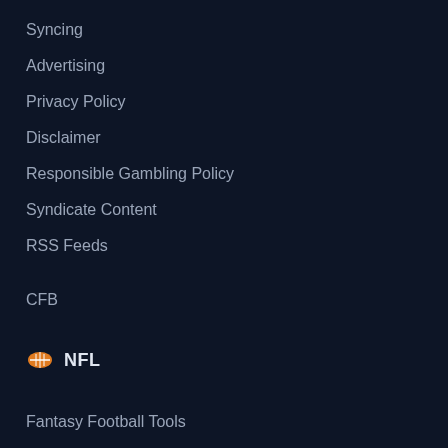Syncing
Advertising
Privacy Policy
Disclaimer
Responsible Gambling Policy
Syndicate Content
RSS Feeds
CFB
NFL
Fantasy Football Tools
Trade Analyzer
Start/Sit Tool
Mock Draft Simulator
Rate My Team
Fantasy Football Assistant